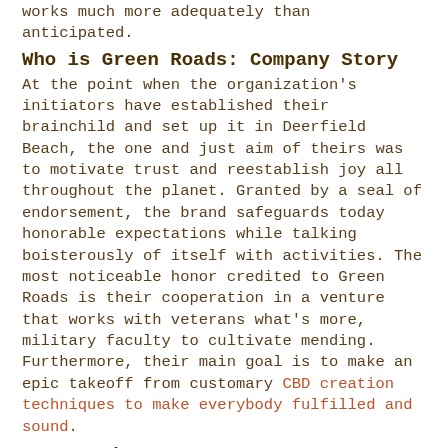works much more adequately than anticipated.
Who is Green Roads: Company Story
At the point when the organization's initiators have established their brainchild and set up it in Deerfield Beach, the one and just aim of theirs was to motivate trust and reestablish joy all throughout the planet. Granted by a seal of endorsement, the brand safeguards today honorable expectations while talking boisterously of itself with activities. The most noticeable honor credited to Green Roads is their cooperation in a venture that works with veterans what's more, military faculty to cultivate mending. Furthermore, their main goal is to make an epic takeoff from customary CBD creation techniques to make everybody fulfilled and sound.
How Do They Taste?
Unfathomably delicious! I'm somewhat spared to the apple enhanced chewy candies